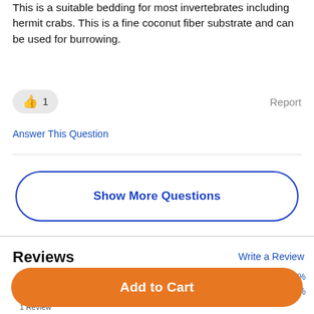This is a suitable bedding for most invertebrates including hermit crabs. This is a fine coconut fiber substrate and can be used for burrowing.
👍 1   Report
Answer This Question
Show More Questions
Reviews
Write a Review
5 ★★★★★ 1 Review
[Figure (bar-chart): Rating distribution]
Add to Cart